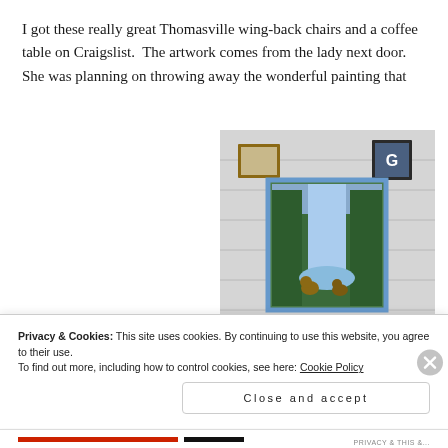I got these really great Thomasville wing-back chairs and a coffee table on Craigslist. The artwork comes from the lady next door. She was planning on throwing away the wonderful painting that
[Figure (photo): Interior room photo showing a white paneled wall with three framed pictures hung on it: a small brown-framed picture on the upper left, a small dark-framed picture with a 'G' label on the upper right, and a larger painting in the center depicting a waterfall scene with trees and bears. The bottom of the image shows the tops of two round red/orange objects.]
Privacy & Cookies: This site uses cookies. By continuing to use this website, you agree to their use.
To find out more, including how to control cookies, see here: Cookie Policy
Close and accept